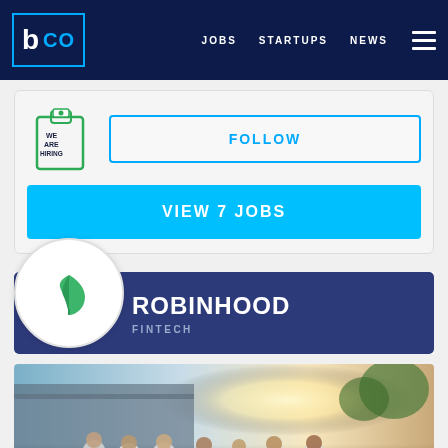b CO   JOBS   STARTUPS   NEWS
[Figure (illustration): We Are Hiring clipboard icon]
FOLLOW
VIEW 7 JOBS
[Figure (logo): Robinhood green feather logo in white circle]
ROBINHOOD
FINTECH
[Figure (photo): Group of people in white t-shirts sitting outdoors in front of a building, sunlit background]